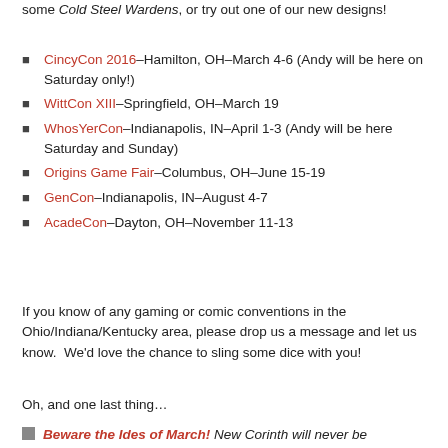some Cold Steel Wardens, or try out one of our new designs!
CincyCon 2016–Hamilton, OH–March 4-6 (Andy will be here on Saturday only!)
WittCon XIII–Springfield, OH–March 19
WhosYerCon–Indianapolis, IN–April 1-3 (Andy will be here Saturday and Sunday)
Origins Game Fair–Columbus, OH–June 15-19
GenCon–Indianapolis, IN–August 4-7
AcadeCon–Dayton, OH–November 11-13
If you know of any gaming or comic conventions in the Ohio/Indiana/Kentucky area, please drop us a message and let us know.  We'd love the chance to sling some dice with you!
Oh, and one last thing…
Beware the Ides of March! New Corinth will never be